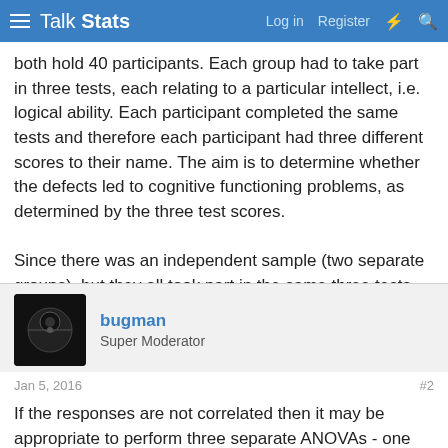Talk Stats | Log in | Register
both hold 40 participants. Each group had to take part in three tests, each relating to a particular intellect, i.e. logical ability. Each participant completed the same tests and therefore each participant had three different scores to their name. The aim is to determine whether the defects led to cognitive functioning problems, as determined by the three test scores.

Since there was an independent sample (two separate groups), but they all took part in the same three tests, would this be a mixed design? Or should I perhaps be using a two way ANOVA? I am so confused, any help with be so helpful.
bugman
Super Moderator
Jan 5, 2016
#2
If the responses are not correlated then it may be appropriate to perform three separate ANOVAs - one for each test. If there is